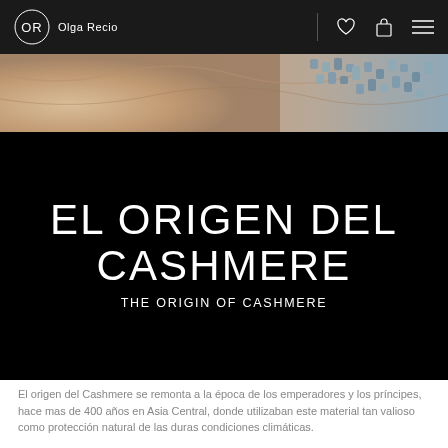Olga Recio
[Figure (photo): Close-up photo of cashmere fabric in beige and blue tones]
EL ORIGEN DEL CASHMERE
THE ORIGIN OF CASHMERE
El origen del Cashmere se remonta a la época de los emperadores y los príncipes, hace mas de 400 años en Asia Central, donde utilizaban este material tan valioso como protección natural de las duras condiciones climáticas.